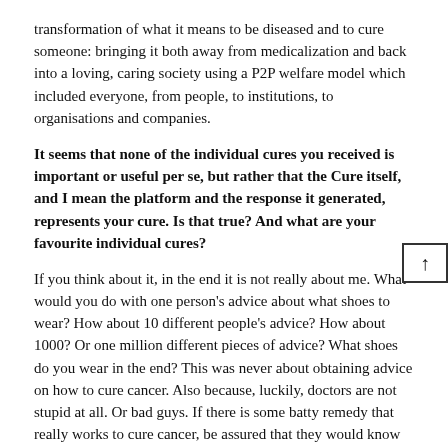transformation of what it means to be diseased and to cure someone: bringing it both away from medicalization and back into a loving, caring society using a P2P welfare model which included everyone, from people, to institutions, to organisations and companies.
It seems that none of the individual cures you received is important or useful per se, but rather that the Cure itself, and I mean the platform and the response it generated, represents your cure. Is that true? And what are your favourite individual cures?
If you think about it, in the end it is not really about me. What would you do with one person's advice about what shoes to wear? How about 10 different people's advice? How about 1000? Or one million different pieces of advice? What shoes do you wear in the end? This was never about obtaining advice on how to cure cancer. Also because, luckily, doctors are not stupid at all. Or bad guys. If there is some batty remedy that really works to cure cancer, be assured that they would know about it, and that you would, too, with relative ease.